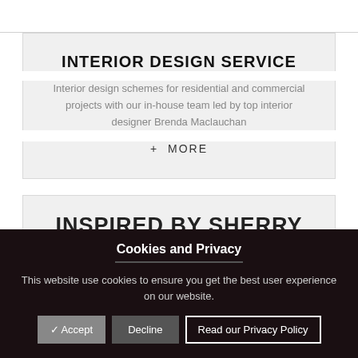INTERIOR DESIGN SERVICE
Interior design schemes for residential and commercial projects with our in-house team led by top interior designer Brenda Maclauchan
+ MORE
INSPIRED BY SHERRY
Cookies and Privacy
This website use cookies to ensure you get the best user experience on our website.
✓ Accept   Decline   Read our Privacy Policy